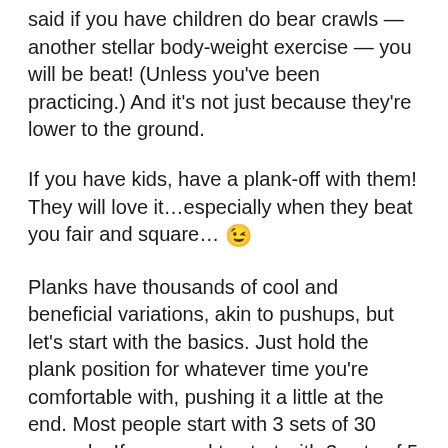said if you have children do bear crawls — another stellar body-weight exercise — you will be beat! (Unless you've been practicing.) And it's not just because they're lower to the ground.
If you have kids, have a plank-off with them! They will love it…especially when they beat you fair and square… 😉
Planks have thousands of cool and beneficial variations, akin to pushups, but let's start with the basics. Just hold the plank position for whatever time you're comfortable with, pushing it a little at the end. Most people start with 3 sets of 30 seconds. If you need to start with 3 sets of 5 seconds, that's fine. Planks are like yoga in that you work from wherever you are, then go step by step.
When your body gives out, notice what gives out first. That's the weak link in your core. For me it was lower back. I